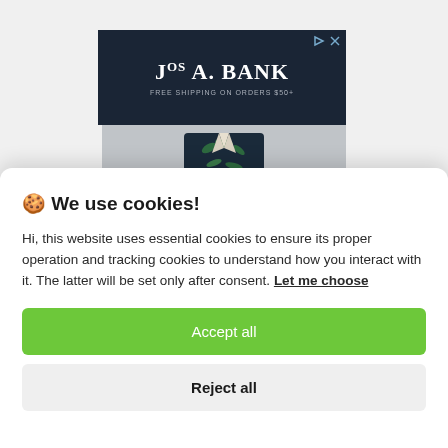[Figure (screenshot): Jos. A. Bank advertisement banner with dark navy background, white brand name text 'JOS A. BANK' and subtitle 'FREE SHIPPING ON ORDERS $50+', with ad control icons in top right. Below is a product image showing a tropical print shirt/jacket on a light grey background.]
🍪 We use cookies!
Hi, this website uses essential cookies to ensure its proper operation and tracking cookies to understand how you interact with it. The latter will be set only after consent. Let me choose
Accept all
Reject all